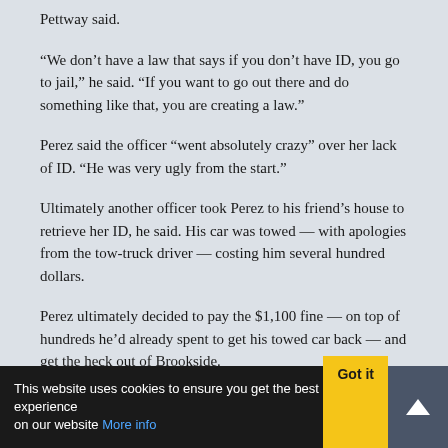Pettway said.
"We don't have a law that says if you don't have ID, you go to jail," he said. "If you want to go out there and do something like that, you are creating a law."
Perez said the officer "went absolutely crazy" over her lack of ID. "He was very ugly from the start."
Ultimately another officer took Perez to his friend's house to retrieve her ID, he said. His car was towed — with apologies from the tow-truck driver — costing him several hundred dollars.
Perez ultimately decided to pay the $1,100 fine — on top of hundreds he'd already spent to get his towed car back — and get the heck out of Brookside.
This website uses cookies to ensure you get the best experience on our website More info  Got it